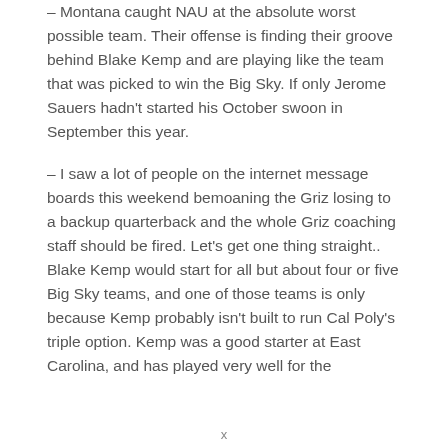– Montana caught NAU at the absolute worst possible team. Their offense is finding their groove behind Blake Kemp and are playing like the team that was picked to win the Big Sky. If only Jerome Sauers hadn't started his October swoon in September this year.
– I saw a lot of people on the internet message boards this weekend bemoaning the Griz losing to a backup quarterback and the whole Griz coaching staff should be fired. Let's get one thing straight.. Blake Kemp would start for all but about four or five Big Sky teams, and one of those teams is only because Kemp probably isn't built to run Cal Poly's triple option. Kemp was a good starter at East Carolina, and has played very well for the
x